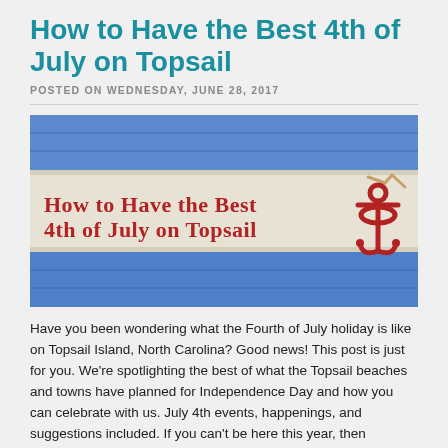How to Have the Best 4th of July on Topsail
POSTED ON WEDNESDAY, JUNE 28, 2017
[Figure (photo): Decorative banner image with text 'How to Have the Best 4th of July on Topsail' in red serif font on a white/cream wooden board background with blue painted boards above and below. A red anchor icon with a twisted rope tag is on the right side.]
Have you been wondering what the Fourth of July holiday is like on Topsail Island, North Carolina? Good news! This post is just for you. We're spotlighting the best of what the Topsail beaches and towns have planned for Independence Day and how you can celebrate with us. July 4th events, happenings, and suggestions included. If you can't be here this year, then